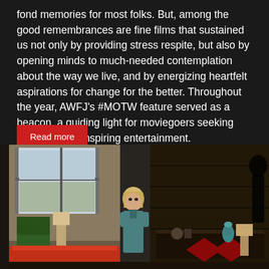fond memories for most folks. But, among the good remembrances are fine films that sustained us not only by providing stress respite, but also by opening minds to much-needed contemplation about the way we live, and by energizing heartfelt aspirations for change for the better. Throughout the year, AWFJ's #MOTW feature served as a beacon, a guiding light for moviegoers seeking excellent and inspiring entertainment.
Read more
[Figure (photo): A movie still showing a blonde woman in a teal jacket sitting in a mid-century modern hotel room with a green chair, lamps, and decorative items. The scene is split with a bright windowed room on the left and a darker wood-paneled room on the right with a shadowy silhouette.]